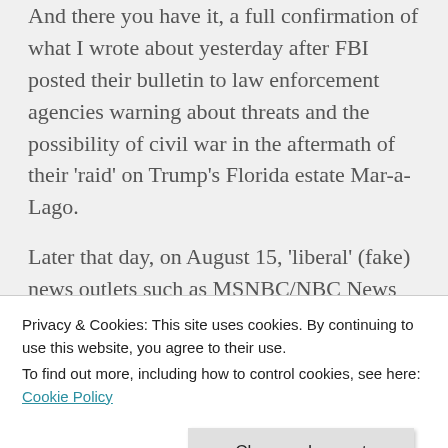And there you have it, a full confirmation of what I wrote about yesterday after FBI posted their bulletin to law enforcement agencies warning about threats and the possibility of civil war in the aftermath of their ‘raid’ on Trump’s Florida estate Mar-a-Lago.
Later that day, on August 15, ‘liberal’ (fake) news outlets such as MSNBC/NBC News posted about the staged and faked standoff between Ricky Shiffer and the FBI. As Shiffer allegedly was killed after f...
Privacy & Cookies: This site uses cookies. By continuing to use this website, you agree to their use.
To find out more, including how to control cookies, see here: Cookie Policy
Close and accept
connection to this Ricky Shiffer HERE